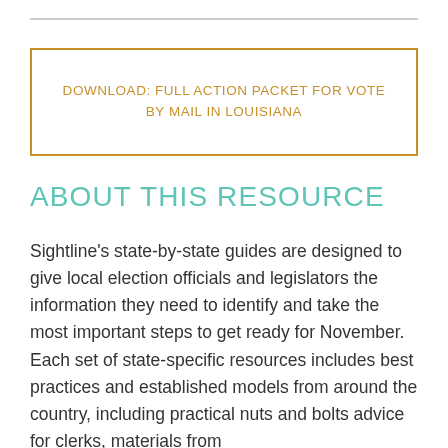DOWNLOAD: FULL ACTION PACKET FOR VOTE BY MAIL IN LOUISIANA
ABOUT THIS RESOURCE
Sightline's state-by-state guides are designed to give local election officials and legislators the information they need to identify and take the most important steps to get ready for November. Each set of state-specific resources includes best practices and established models from around the country, including practical nuts and bolts advice for clerks, materials from